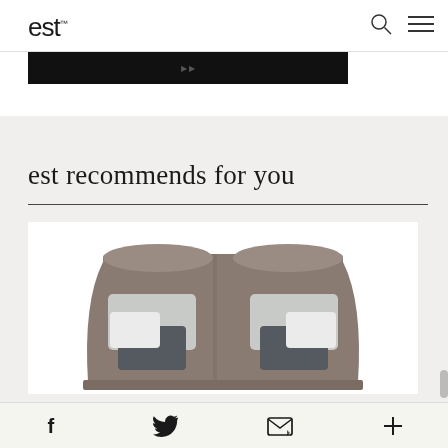est™
[Figure (screenshot): Dark black banner image strip at top of content area]
est recommends for you
[Figure (photo): Upholstered bed headboard in taupe/grey fabric with multiple pillows in grey and white, displayed in a product shot on white background]
Social share bar with Facebook, Twitter, email, and plus icons